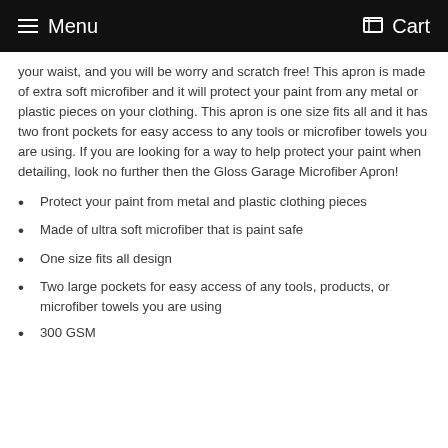Menu  Cart
your waist, and you will be worry and scratch free! This apron is made of extra soft microfiber and it will protect your paint from any metal or plastic pieces on your clothing. This apron is one size fits all and it has two front pockets for easy access to any tools or microfiber towels you are using. If you are looking for a way to help protect your paint when detailing, look no further then the Gloss Garage Microfiber Apron!
Protect your paint from metal and plastic clothing pieces
Made of ultra soft microfiber that is paint safe
One size fits all design
Two large pockets for easy access of any tools, products, or microfiber towels you are using
300 GSM